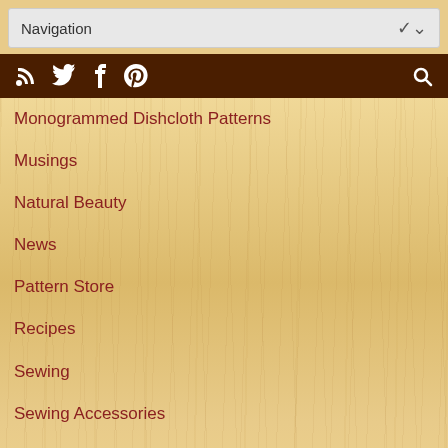Navigation
Monogrammed Dishcloth Patterns
Musings
Natural Beauty
News
Pattern Store
Recipes
Sewing
Sewing Accessories
Sewing Appliques
Sewing Clothing
Sewing Tutorials